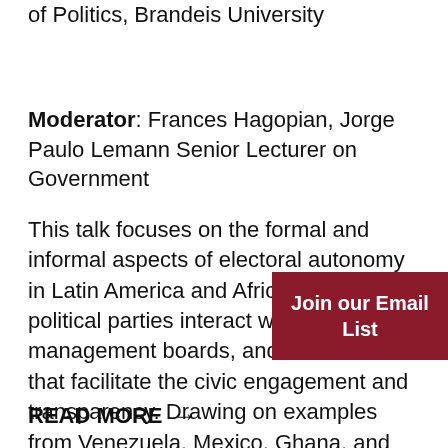Speaker: Alejandro Trelles, Assistant Professor of Politics, Brandeis University
Moderator: Frances Hagopian, Jorge Paulo Lemann Senior Lecturer on Government
This talk focuses on the formal and informal aspects of electoral autonomy in Latin America and Africa, how political parties interact within electoral management boards, and mechanisms that facilitate the civic engagement and transparency. Drawing on examples from Venezuela, Mexico, Ghana, and Kenya, the talk centres around the con autonomy, the adoption of...
Join our Email List
READ MORE →